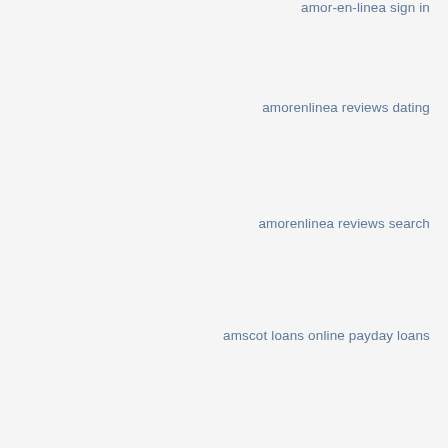amor-en-linea sign in
amorenlinea reviews dating
amorenlinea reviews search
amscot loans online payday loans
amscot loans payday loan
amscot loans payday loans
amscot payday loans
anaheim-dating review
Anal Guys Web Cam Live
Anal Guys XXX